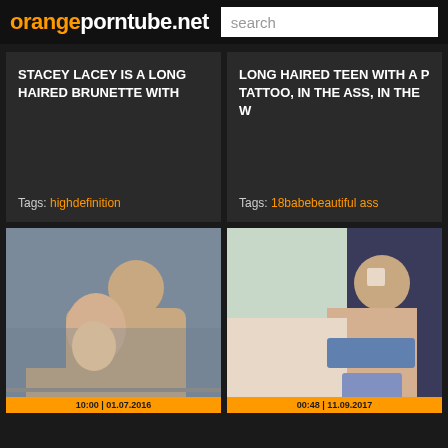orangeporntube.net | search
STACEY LACEY IS A LONG HAIRED BRUNETTE WITH
Tags: highdefinition
LONG HAIRED TEEN WITH A P TATTOO, IN THE ASS, IN THE W
Tags: 18babebeautiful ass
[Figure (photo): Video thumbnail showing two people]
[Figure (photo): Video thumbnail showing a woman sitting]